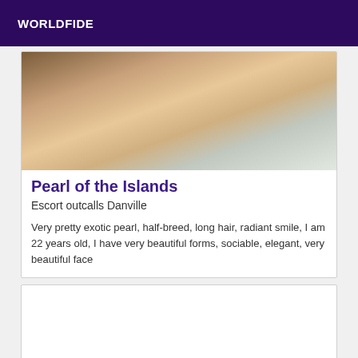WORLDFIDE
[Figure (photo): Close-up photo, blurred/partial body image with warm brown skin tones and white fabric/bedding in background]
Pearl of the Islands
Escort outcalls Danville
Very pretty exotic pearl, half-breed, long hair, radiant smile, I am 22 years old, I have very beautiful forms, sociable, elegant, very beautiful face